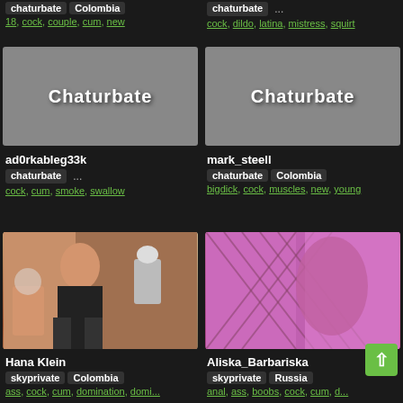chaturbate  Colombia
18, cock, couple, cum, new
chaturbate  ...
cock, dildo, latina, mistress, squirt
[Figure (photo): Chaturbate placeholder thumbnail (gray background with Chaturbate logo)]
[Figure (photo): Chaturbate placeholder thumbnail (gray background with Chaturbate logo)]
ad0rkableg33k
chaturbate  ...
cock, cum, smoke, swallow
mark_steell
chaturbate  Colombia
bigdick, cock, muscles, new, young
[Figure (photo): Photo of Hana Klein, a woman in a leather jacket and fishnet stockings posing on a bed with pink headboard]
[Figure (photo): Photo of Aliska_Barbariska showing fishnet stockings and pink background]
Hana Klein
skyprivate  Colombia
ass, cock, cum, domination, domi...
Aliska_Barbariska
skyprivate  Russia
anal, ass, boobs, cock, cum, d...